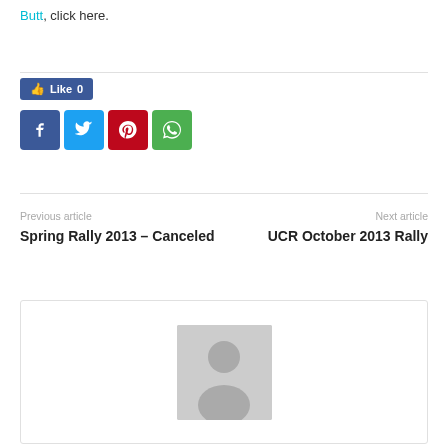Butt, click here.
[Figure (screenshot): Social sharing buttons: Facebook Like button showing 0 likes, and four share icons for Facebook, Twitter, Pinterest, and WhatsApp]
Previous article
Next article
Spring Rally 2013 – Canceled
UCR October 2013 Rally
[Figure (photo): Generic user avatar placeholder image — grey silhouette of a person on grey background]